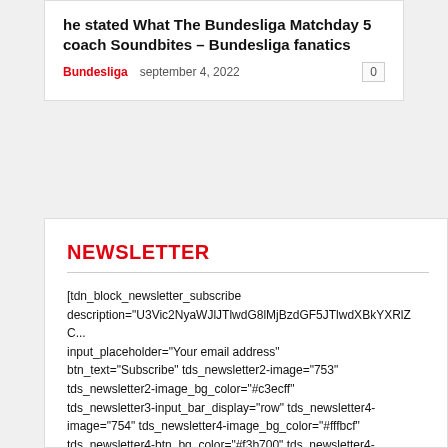he stated What The Bundesliga Matchday 5 coach Soundbites – Bundesliga fanatics
Bundesliga   september 4, 2022
NEWSLETTER
[tdn_block_newsletter_subscribe description="U3Vic2NyaWJlJTlwdG8lMjBzdGF5JTlwdXBkYXRlZC... input_placeholder="Your email address" btn_text="Subscribe" tds_newsletter2-image="753" tds_newsletter2-image_bg_color="#c3ecff" tds_newsletter3-input_bar_display="row" tds_newsletter4-image="754" tds_newsletter4-image_bg_color="#fffbcf" tds_newsletter4-btn_bg_color="#f3b700" tds_newsletter4-check_accent="#f3b700" tds_newsletter5-tdicon="tdc-font-fa tdc-font-fa-envelope-o" tds_newsletter5-btn_bg_color="#000000" tds_newsletter5-btn_bg_color_hover="#4db2ec" tds_newsletter5-